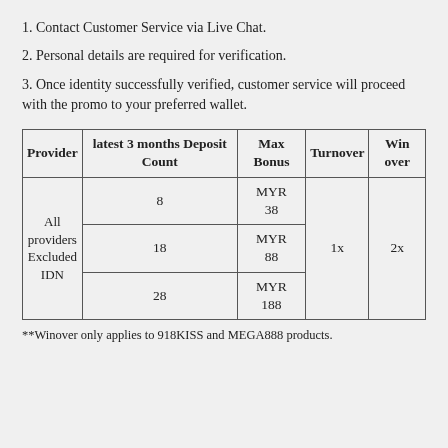1. Contact Customer Service via Live Chat.
2. Personal details are required for verification.
3. Once identity successfully verified, customer service will proceed with the promo to your preferred wallet.
| Provider | latest 3 months Deposit Count | Max Bonus | Turnover | Win over |
| --- | --- | --- | --- | --- |
| All providers Excluded IDN | 8 | MYR 38 | 1x | 2x |
| All providers Excluded IDN | 18 | MYR 88 | 1x | 2x |
| All providers Excluded IDN | 28 | MYR 188 | 1x | 2x |
**Winover only applies to 918KISS and MEGA888 products.